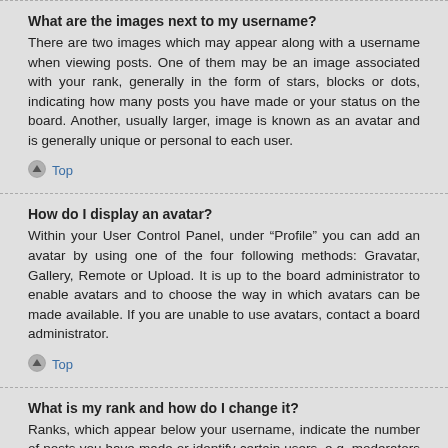What are the images next to my username?
There are two images which may appear along with a username when viewing posts. One of them may be an image associated with your rank, generally in the form of stars, blocks or dots, indicating how many posts you have made or your status on the board. Another, usually larger, image is known as an avatar and is generally unique or personal to each user.
Top
How do I display an avatar?
Within your User Control Panel, under “Profile” you can add an avatar by using one of the four following methods: Gravatar, Gallery, Remote or Upload. It is up to the board administrator to enable avatars and to choose the way in which avatars can be made available. If you are unable to use avatars, contact a board administrator.
Top
What is my rank and how do I change it?
Ranks, which appear below your username, indicate the number of posts you have made or identify certain users, e.g. moderators and administrators. In general, you cannot directly change the wording of any board ranks as they are set by the board administrator. Please do not abuse the board by posting unnecessarily just to increase your rank. Most boards will not tolerate this and the moderator or administrator will simply lower your post count.